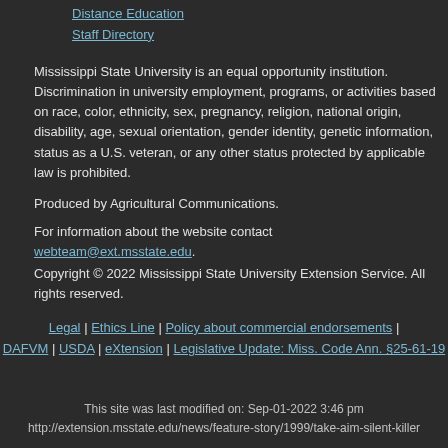Distance Education
Staff Directory
Mississippi State University is an equal opportunity institution. Discrimination in university employment, programs, or activities based on race, color, ethnicity, sex, pregnancy, religion, national origin, disability, age, sexual orientation, gender identity, genetic information, status as a U.S. veteran, or any other status protected by applicable law is prohibited.
Produced by Agricultural Communications.
For information about the website contact webteam@ext.msstate.edu.
Copyright © 2022 Mississippi State University Extension Service. All rights reserved.
Legal | Ethics Line | Policy about commercial endorsements | DAFVM | USDA | eXtension | Legislative Update: Miss. Code Ann. §25-61-19
This site was last modified on: Sep-01-2022 3:46 pm
http://extension.msstate.edu/news/feature-story/1999/take-aim-silent-killer